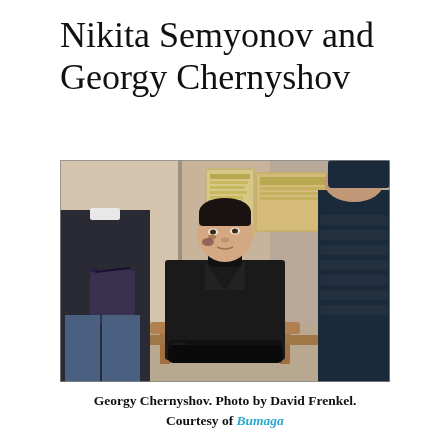Nikita Semyonov and Georgy Chernyshov
[Figure (photo): A young man with dark hair and bruises on his face sits in a chair wearing a black leather jacket. Two other people stand on either side of him in what appears to be an official building or court. One person on the left wears a dark coat and carries a shoulder bag; one on the right wears a dark puffy jacket.]
Georgy Chernyshov. Photo by David Frenkel. Courtesy of Bumaga